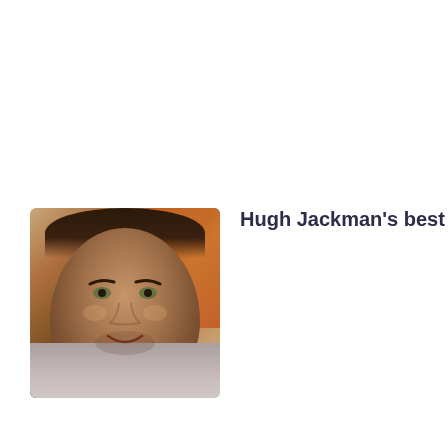[Figure (photo): Portrait photo of Hugh Jackman, a man with dark hair and facial stubble, wearing a light grey shirt, with warm orange/brown blurred background]
Hugh Jackman's best films